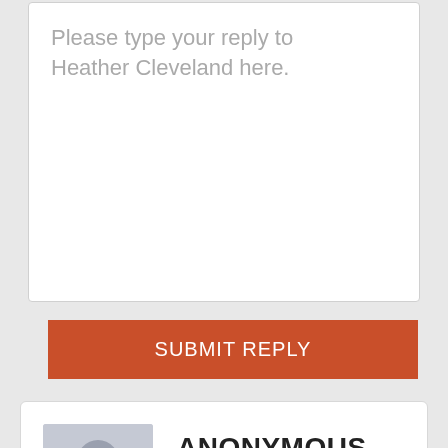Please type your reply to Heather Cleveland here.
SUBMIT REPLY
ANONYMOUS
CLIENT